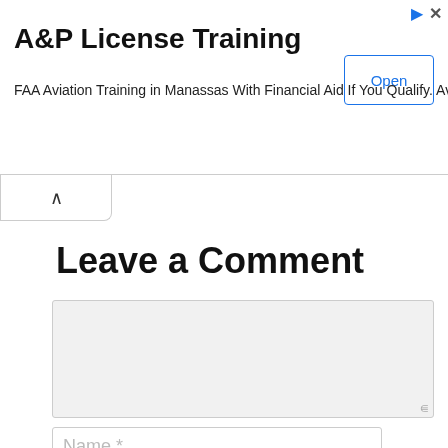[Figure (screenshot): Advertisement banner for A&P License Training. Title: 'A&P License Training'. Body text: 'FAA Aviation Training in Manassas With Financial Aid If You Qualify. Aviation Institute'. Blue 'Open' button on right. Ad icons (arrow and X) in top right corner.]
Leave a Comment
Name *